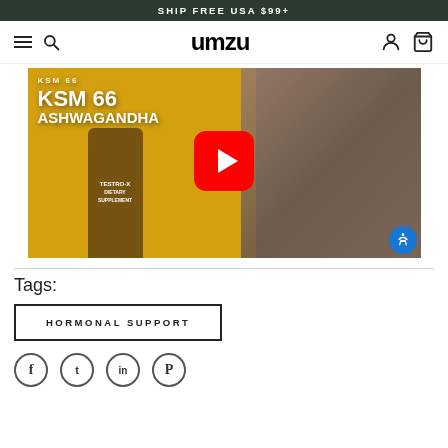SHIP FREE USA $99+
[Figure (screenshot): UMZU website navigation bar with hamburger menu, search icon, UMZU logo, user account icon, and shopping cart icon]
[Figure (screenshot): YouTube video thumbnail for KSM 66 Ashwagandha featuring a muscular man and TESTRO-X supplement bottle on yellow background, with red YouTube play button overlay]
Tags:
HORMONAL SUPPORT
[Figure (other): Social media sharing icons row: Facebook, Twitter, LinkedIn, Pinterest]